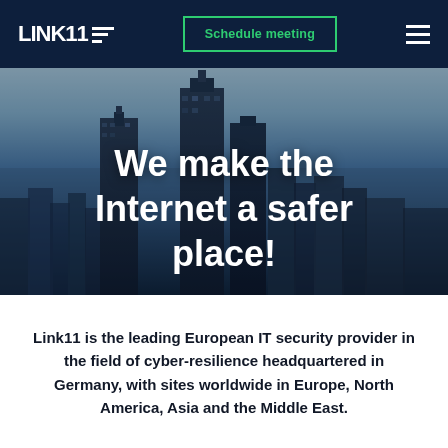LINK11 — Schedule meeting
[Figure (photo): Aerial cityscape hero image showing a skyline with tall skyscrapers (Frankfurt) under a blue sky with the headline 'We make the Internet a safer place!' overlaid in white bold text]
We make the Internet a safer place!
Link11 is the leading European IT security provider in the field of cyber-resilience headquartered in Germany, with sites worldwide in Europe, North America, Asia and the Middle East.